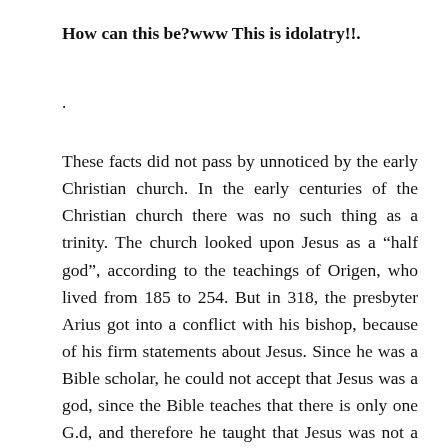How can this be?www This is idolatry!!.
.
These facts did not pass by unnoticed by the early Christian church. In the early centuries of the Christian church there was no such thing as a trinity. The church looked upon Jesus as a “half god”, according to the teachings of Origen, who lived from 185 to 254. But in 318, the presbyter Arius got into a conflict with his bishop, because of his firm statements about Jesus. Since he was a Bible scholar, he could not accept that Jesus was a god, since the Bible teaches that there is only one G.d, and therefore he taught that Jesus was not a god